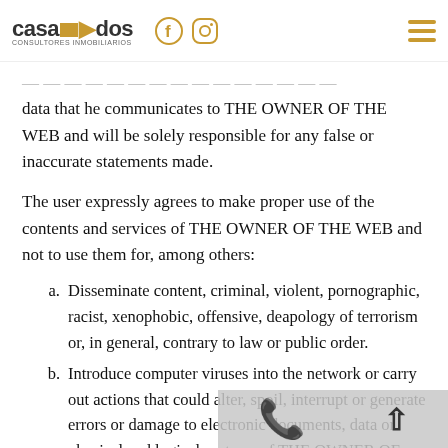casados CONSULTORES INMOBILIARIOS [Facebook] [Instagram] [Menu]
data that he communicates to THE OWNER OF THE WEB and will be solely responsible for any false or inaccurate statements made.
The user expressly agrees to make proper use of the contents and services of THE OWNER OF THE WEB and not to use them for, among others:
a. Disseminate content, criminal, violent, pornographic, racist, xenophobic, offensive, deapology of terrorism or, in general, contrary to law or public order.
b. Introduce computer viruses into the network or carry out actions that could alter, spoil, interrupt or generate errors or damage to electronic documents, data or physical and logical systems of THE OWNER OF THE WEBSITE or third parties; as well as hinder the access of other users to the website and its